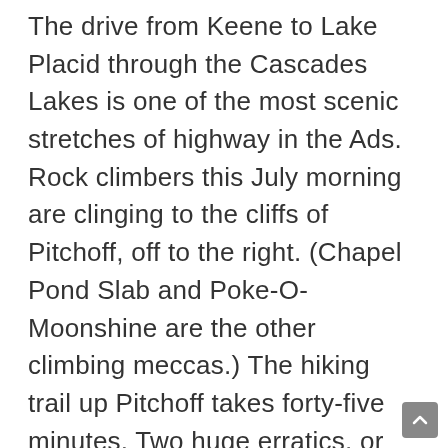The drive from Keene to Lake Placid through the Cascades Lakes is one of the most scenic stretches of highway in the Ads. Rock climbers this July morning are clinging to the cliffs of Pitchoff, off to the right. (Chapel Pond Slab and Poke-O-Moonshine are the other climbing meccas.) The hiking trail up Pitchoff takes forty-five minutes. Two huge erratics, or boulders deposited by a long-gone glacier, are poised on the summit. The flumes–cuts of water through tilted, fractured strata– are another of our natural wonders. Krumrnholz– the stunted, impenetrably dense balsam-fir forest near the summits of the forty-three “High Peaks” over 4,000 feet– are our most singular vegetation